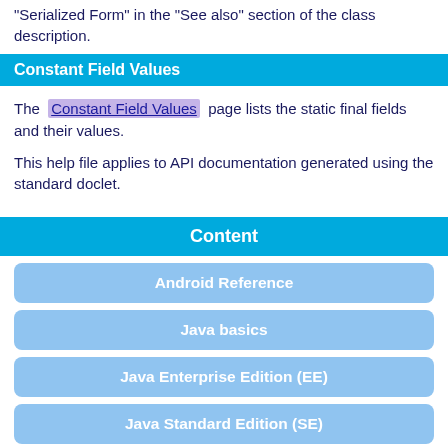"Serialized Form" in the "See also" section of the class description.
Constant Field Values
The Constant Field Values page lists the static final fields and their values.
This help file applies to API documentation generated using the standard doclet.
Content
Android Reference
Java basics
Java Enterprise Edition (EE)
Java Standard Edition (SE)